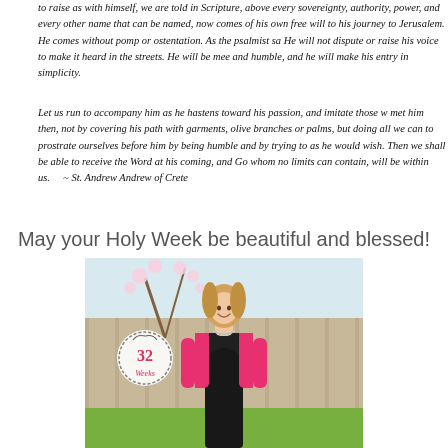to raise as with himself, we are told in Scripture, above every sovereignty, authority, power, and every other name that can be named, now comes of his own free will to his journey to Jerusalem. He comes without pomp or ostentation. As the psalmist sa He will not dispute or raise his voice to make it heard in the streets. He will be mee and humble, and he will make his entry in simplicity.
Let us run to accompany him as he hastens toward his passion, and imitate those w met him then, not by covering his path with garments, olive branches or palms, but doing all we can to prostrate ourselves before him by being humble and by trying to as he would wish. Then we shall be able to receive the Word at his coming, and Go whom no limits can contain, will be within us.     ~ St. Andrew Andrew of Crete
May your Holy Week be beautiful and blessed!
[Figure (photo): Pregnant woman in pink cardigan and black top standing outdoors near flowering tree, with a circular badge reading '32 Weeks']